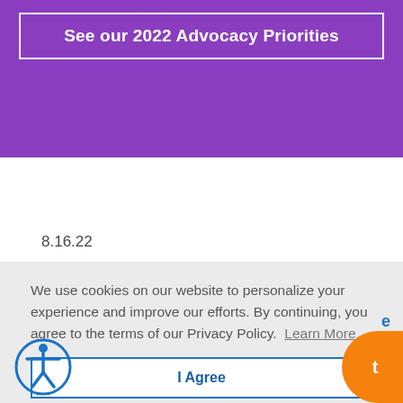See our 2022 Advocacy Priorities
8.16.22
We use cookies on our website to personalize your experience and improve our efforts. By continuing, you agree to the terms of our Privacy Policy.  Learn More
I Agree